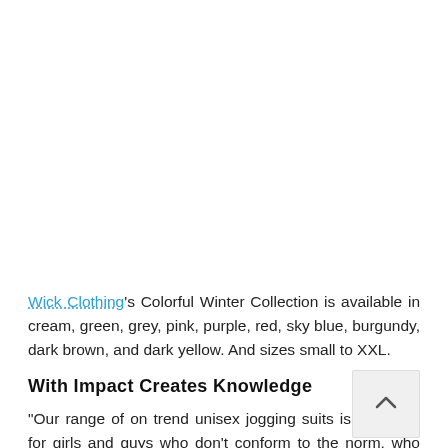Wick Clothing's Colorful Winter Collection is available in cream, green, grey, pink, purple, red, sky blue, burgundy, dark brown, and dark yellow. And sizes small to XXL.
With Impact Creates Knowledge
“Our range of on trend unisex jogging suits is designed for girls and guys who don’t conform to the norm, who march